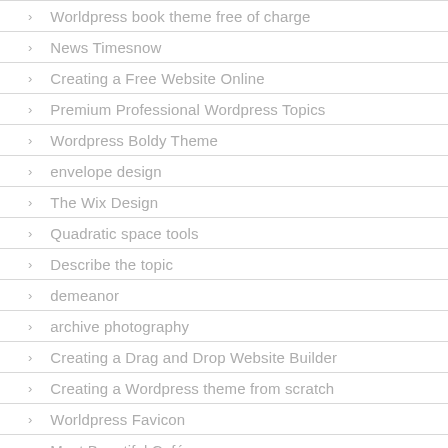Worldpress book theme free of charge
News Timesnow
Creating a Free Website Online
Premium Professional Wordpress Topics
Wordpress Boldy Theme
envelope design
The Wix Design
Quadratic space tools
Describe the topic
demeanor
archive photography
Creating a Drag and Drop Website Builder
Creating a Wordpress theme from scratch
Worldpress Favicon
Most Beautiful Café